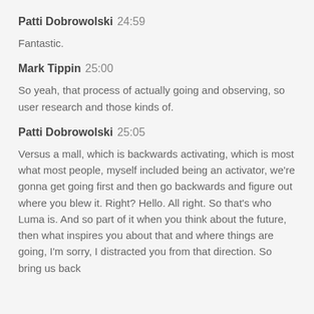Patti Dobrowolski  24:59
Fantastic.
Mark Tippin  25:00
So yeah, that process of actually going and observing, so user research and those kinds of.
Patti Dobrowolski  25:05
Versus a mall, which is backwards activating, which is most what most people, myself included being an activator, we're gonna get going first and then go backwards and figure out where you blew it. Right? Hello. All right. So that's who Luma is. And so part of it when you think about the future, then what inspires you about that and where things are going, I'm sorry, I distracted you from that direction. So bring us back